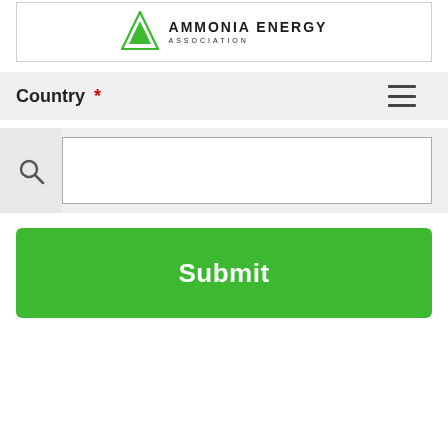[Figure (logo): Ammonia Energy Association logo with green triangle and text]
Country *
[Figure (screenshot): Search input field with magnifying glass icon on grey background]
Submit